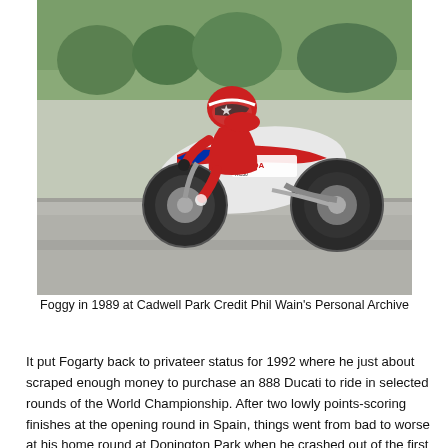[Figure (photo): Motorcycle racer (Foggy) riding a Honda racing motorcycle on a track at Cadwell Park in 1989. Rider in red/white/blue leathers, bike leaning in a corner.]
Foggy in 1989 at Cadwell Park Credit Phil Wain's Personal Archive
It put Fogarty back to privateer status for 1992 where he just about scraped enough money to purchase an 888 Ducati to ride in selected rounds of the World Championship. After two lowly points-scoring finishes at the opening round in Spain, things went from bad to worse at his home round at Donington Park when he crashed out of the first race whilst leading.
earing he'd blown any chances of further support, ogarty went back out for the second race and, putting the crash behind him, soon established himself in the